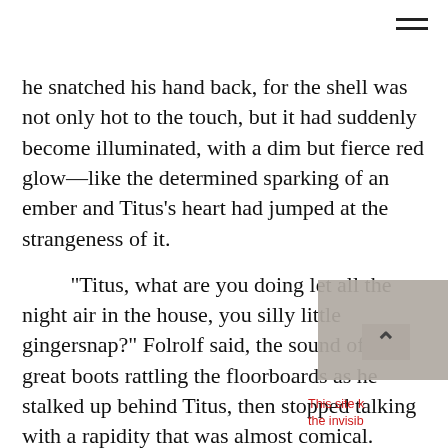he snatched his hand back, for the shell was not only hot to the touch, but it had suddenly become illuminated, with a dim but fierce red glow—like the determined sparking of an ember and Titus's heart had jumped at the strangeness of it.

“Titus, what are you doing let all the night air in the house, you silly little gingersnap?” Folrolf said, the sound of his great boots rattling the floorboards as he stalked up behind Titus, then stopped talking with a rapidity that was almost comical.

He bent, bringing his nose close to the egg, and he looked a little like a sw[ift] bird lowering its beak towards water.

Folrolf peered at the egg, and th[en] his eyebrows nearly exploded from his face